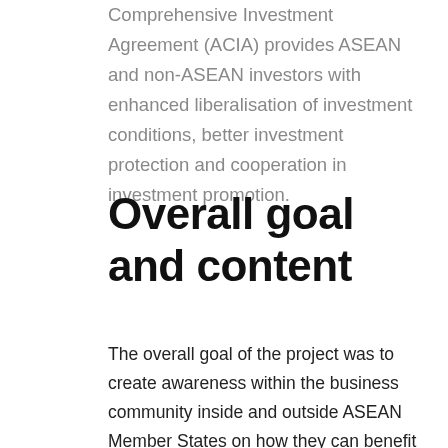Comprehensive Investment Agreement (ACIA) provides ASEAN and non-ASEAN investors with enhanced liberalisation of investment conditions, better investment protection and cooperation in investment promotion.
Overall goal and content
The overall goal of the project was to create awareness within the business community inside and outside ASEAN Member States on how they can benefit from the various initiatives concerning trade, investment and